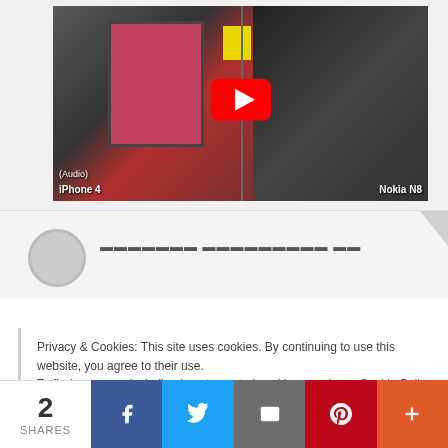[Figure (screenshot): YouTube video thumbnail showing split screen: left side shows iPhone 4 audio with office desk and pink monitor screen, right side shows Nokia N8 camera view of office, with YouTube play button overlay in center]
[Figure (screenshot): Partial comment section with grey avatar circle and blurred username text]
We use cookies on our website to give you the most relevant
Privacy & Cookies: This site uses cookies. By continuing to use this website, you agree to their use. To find out more, including how to control cookies, see here: Cookie Policy
2 SHARES